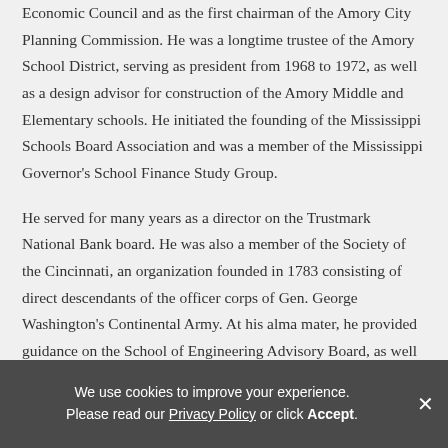Economic Council and as the first chairman of the Amory City Planning Commission. He was a longtime trustee of the Amory School District, serving as president from 1968 to 1972, as well as a design advisor for construction of the Amory Middle and Elementary schools. He initiated the founding of the Mississippi Schools Board Association and was a member of the Mississippi Governor's School Finance Study Group.
He served for many years as a director on the Trustmark National Bank board. He was also a member of the Society of the Cincinnati, an organization founded in 1783 consisting of direct descendants of the officer corps of Gen. George Washington's Continental Army. At his alma mater, he provided guidance on the School of Engineering Advisory Board, as well as the Ole Miss Alumni Association Board.
We use cookies to improve your experience. Please read our Privacy Policy or click Accept.